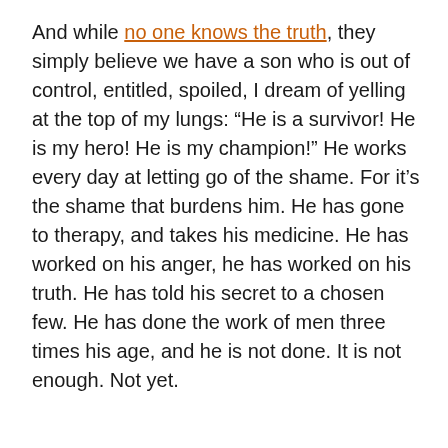And while no one knows the truth, they simply believe we have a son who is out of control, entitled, spoiled, I dream of yelling at the top of my lungs: “He is a survivor! He is my hero! He is my champion!” He works every day at letting go of the shame. For it’s the shame that burdens him. He has gone to therapy, and takes his medicine. He has worked on his anger, he has worked on his truth. He has told his secret to a chosen few. He has done the work of men three times his age, and he is not done. It is not enough. Not yet.